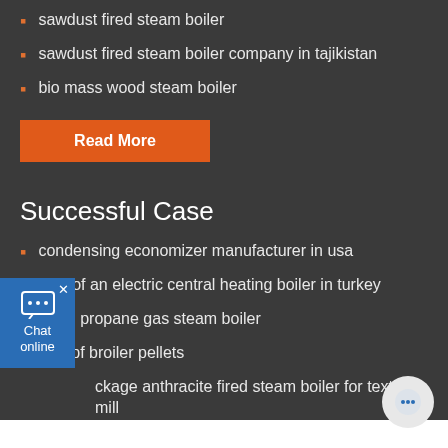sawdust fired steam boiler
sawdust fired steam boiler company in tajikistan
bio mass wood steam boiler
Read More
Successful Case
condensing economizer manufacturer in usa
cost of an electric central heating boiler in turkey
liquid propane gas steam boiler
size pf broiler pellets
package anthracite fired steam boiler for textile mill
Solutions